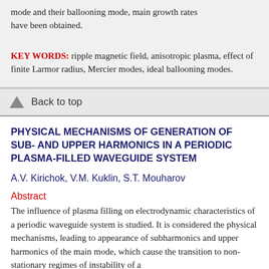mode and their ballooning mode, main growth rates have been obtained.
KEY WORDS: ripple magnetic field, anisotropic plasma, effect of finite Larmor radius, Mercier modes, ideal ballooning modes.
Back to top
PHYSICAL MECHANISMS OF GENERATION OF SUB- AND UPPER HARMONICS IN A PERIODIC PLASMA-FILLED WAVEGUIDE SYSTEM
A.V. Kirichok, V.M. Kuklin, S.T. Mouharov
Abstract
The influence of plasma filling on electrodynamic characteristics of a periodic waveguide system is studied. It is considered the physical mechanisms, leading to appearance of subharmonics and upper harmonics of the main mode, which cause the transition to non-stationary regimes of instability of a